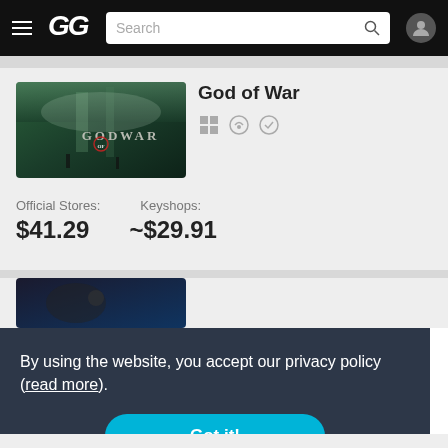GG — Game search bar navigation header
[Figure (screenshot): God of War game cover art with green forest and waterfall background, GOD OF WAR text logo]
God of War
Official Stores: $41.29  Keyshops: ~$29.91
[Figure (screenshot): Partial second game cover art, dark blue tones]
By using the website, you accept our privacy policy (read more).
Got it!